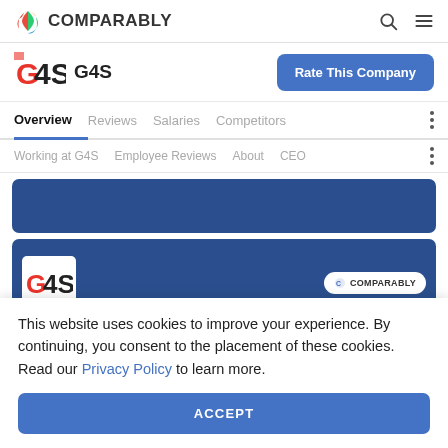COMPARABLY
G4S
Rate This Company
Overview | Reviews | Salaries | Competitors
Working at G4S | Employee Reviews | About | CEO
[Figure (screenshot): Blue banner content block]
[Figure (screenshot): Blue banner with G4S logo and Comparably badge]
This website uses cookies to improve your experience. By continuing, you consent to the placement of these cookies. Read our Privacy Policy to learn more.
ACCEPT